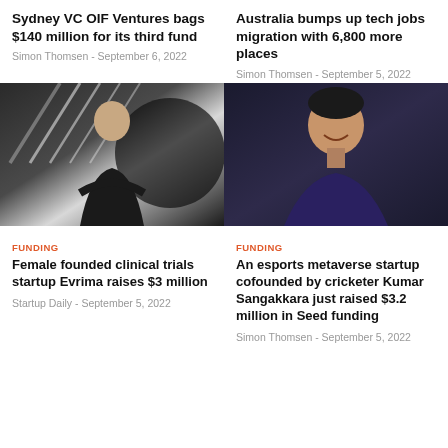Sydney VC OIF Ventures bags $140 million for its third fund
Simon Thomsen - September 6, 2022
Australia bumps up tech jobs migration with 6,800 more places
Simon Thomsen - September 5, 2022
[Figure (photo): Woman with arms crossed standing in front of black and white mural]
[Figure (photo): Man smiling wearing dark shirt against dark background]
FUNDING
Female founded clinical trials startup Evrima raises $3 million
Startup Daily - September 5, 2022
FUNDING
An esports metaverse startup cofounded by cricketer Kumar Sangakkara just raised $3.2 million in Seed funding
Simon Thomsen - September 5, 2022